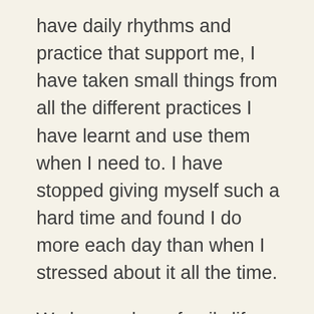have daily rhythms and practice that support me, I have taken small things from all the different practices I have learnt and use them when I need to. I have stopped giving myself such a hard time and found I do more each day than when I stressed about it all the time.
We have a busy family life so I tend to slot things in around what is happening.
One of the best things for me is